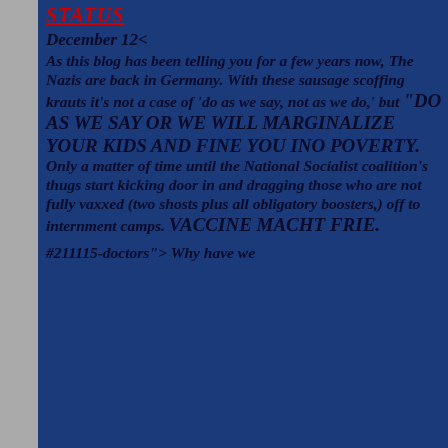Status
December 12<
As this blog has been telling you for a few years now, The Nazis are back in Germany. With these sausage scoffing krauts it's not a case of 'do as we say, not as we do,' but "DO AS WE SAY OR WE WILL MARGINALIZE YOUR KIDS AND FINE YOU INO POVERTY. Only a matter of time until the National Socialist coalition's thugs start kicking door in and dragging those who are not fully vaxxed (two shosts plus all obligatory boosters,) off to internment camps. VACCINE MACHT FRIE.
#211115-doctors"> Why have we